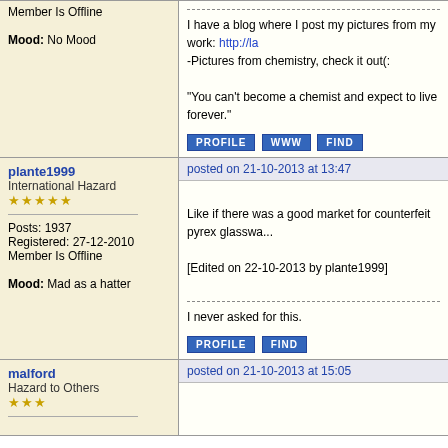Member Is Offline
Mood: No Mood
I have a blog where I post my pictures from my work: http://la...
-Pictures from chemistry, check it out(:
"You can't become a chemist and expect to live forever."
plante1999
International Hazard
posted on 21-10-2013 at 13:47
Posts: 1937
Registered: 27-12-2010
Member Is Offline
Mood: Mad as a hatter
Like if there was a good market for counterfeit pyrex glasswa...
[Edited on 22-10-2013 by plante1999]
I never asked for this.
malford
Hazard to Others
posted on 21-10-2013 at 15:05